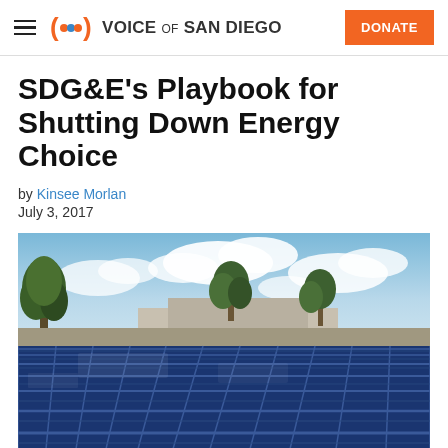Voice of San Diego
SDG&E's Playbook for Shutting Down Energy Choice
by Kinsee Morlan
July 3, 2017
[Figure (photo): Solar panels on a rooftop with trees and cloudy blue sky in the background]